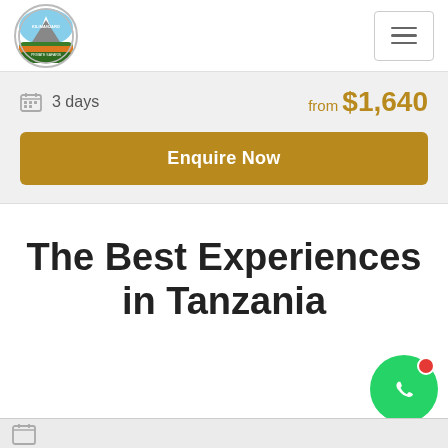[Figure (logo): Kilimanjaro Private Safaris circular logo with mountain and landscape illustration]
[Figure (screenshot): Hamburger menu button icon (three horizontal lines) in a bordered box]
3 days
from $1,640
Enquire Now
The Best Experiences in Tanzania
[Figure (logo): WhatsApp green circle button with chat icon and red notification dot]